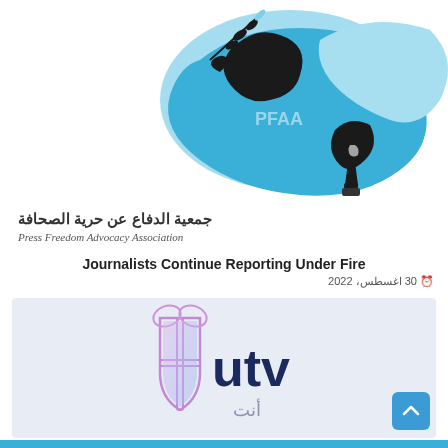[Figure (logo): PFAA (Press Freedom Advocacy Association) logo featuring blue bird/map of Iraq, fountain pen, olive branch, and PFAA text]
جمعية الدفاع عن حرية الصحافة
Press Freedom Advocacy Association
Journalists Continue Reporting Under Fire
30 اغسطس، 2022
[Figure (logo): UTV (أنت) television channel logo with purple shield/bow icon and dark blue 'utv' text with Arabic 'أنت' below]